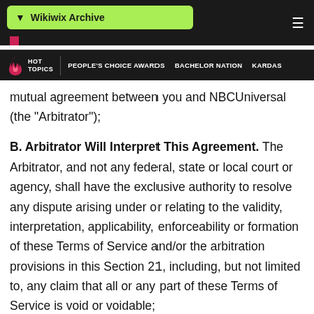Wikiwix Archive
HOT TOPICS | PEOPLE'S CHOICE AWARDS | BACHELOR NATION | KARDAS
mutual agreement between you and NBCUniversal (the "Arbitrator");
B. Arbitrator Will Interpret This Agreement. The Arbitrator, and not any federal, state or local court or agency, shall have the exclusive authority to resolve any dispute arising under or relating to the validity, interpretation, applicability, enforceability or formation of these Terms of Service and/or the arbitration provisions in this Section 21, including, but not limited to, any claim that all or any part of these Terms of Service is void or voidable;